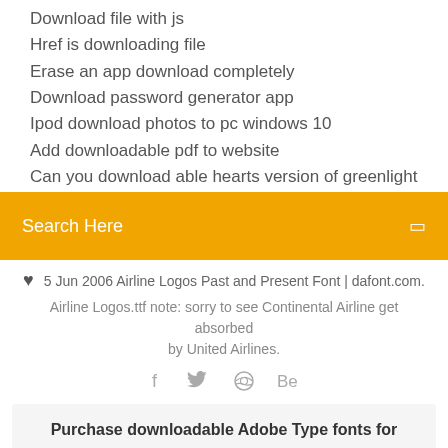Download file with js
Href is downloading file
Erase an app download completely
Download password generator app
Ipod download photos to pc windows 10
Add downloadable pdf to website
Can you download able hearts version of greenlight
Search Here
5 Jun 2006 Airline Logos Past and Present Font | dafont.com. Airline Logos.ttf note: sorry to see Continental Airline get absorbed by United Airlines.
[Figure (infographic): Social media icons: facebook (f), twitter bird, dribbble, behance (Be)]
Purchase downloadable Adobe Type fonts for commercial use from best online collection. Try fonts